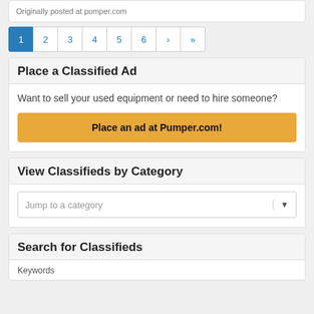Originally posted at pumper.com
1 2 3 4 5 6 › »
Place a Classified Ad
Want to sell your used equipment or need to hire someone?
Place an ad at Pumper.com!
View Classifieds by Category
Jump to a category
Search for Classifieds
Keywords